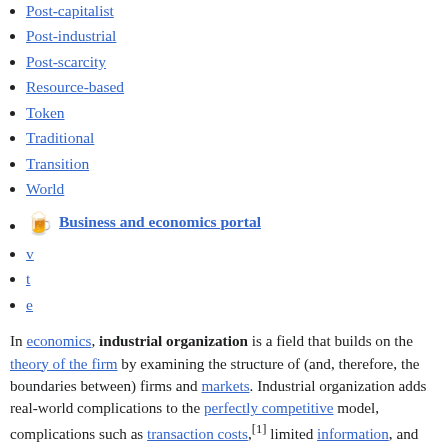Post-capitalist
Post-industrial
Post-scarcity
Resource-based
Token
Traditional
Transition
World
Business and economics portal
v
t
e
In economics, industrial organization is a field that builds on the theory of the firm by examining the structure of (and, therefore, the boundaries between) firms and markets. Industrial organization adds real-world complications to the perfectly competitive model, complications such as transaction costs,[1] limited information, and barriers to entry of new firms that may be associated with imperfect competition. It analyzes determinants of firm and market